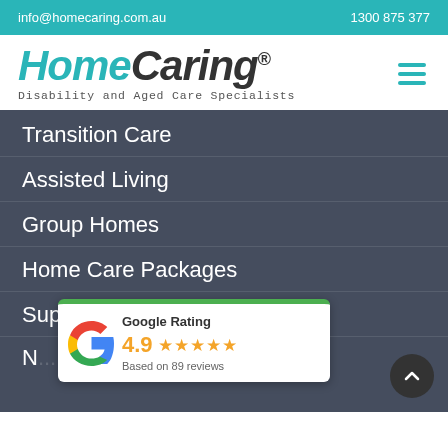info@homecaring.com.au   1300 875 377
[Figure (logo): HomeCaring logo — italic bold text with 'Home' in teal and 'Caring' in dark grey, registered trademark symbol, tagline 'Disability and Aged Care Specialists']
Transition Care
Assisted Living
Group Homes
Home Care Packages
Supported Independent Living
N...y
S...
[Figure (other): Google Rating widget showing 4.9 stars based on 89 reviews with Google 'G' logo]